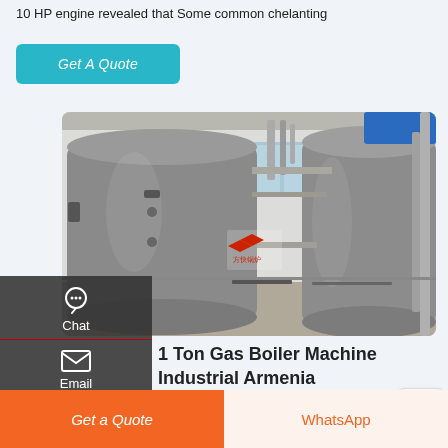10 HP engine revealed that Some common chelanting
Get A Quote
[Figure (photo): Industrial gas boilers inside a factory building, two large cylindrical stainless steel boilers with pipes and valves, 方快锅炉 brand logo visible]
1 Ton Gas Boiler Machine Industrial Armenia
Get a Quote
WhatsApp